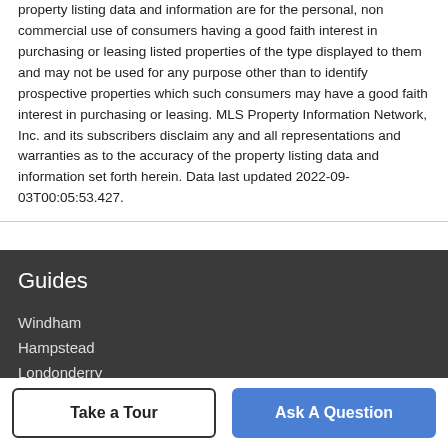property listing data and information are for the personal, non commercial use of consumers having a good faith interest in purchasing or leasing listed properties of the type displayed to them and may not be used for any purpose other than to identify prospective properties which such consumers may have a good faith interest in purchasing or leasing. MLS Property Information Network, Inc. and its subscribers disclaim any and all representations and warranties as to the accuracy of the property listing data and information set forth herein. Data last updated 2022-09-03T00:05:53.427.
Guides
Windham
Hampstead
Londonderry
Manchester
Nashua
Take a Tour
Ask A Question